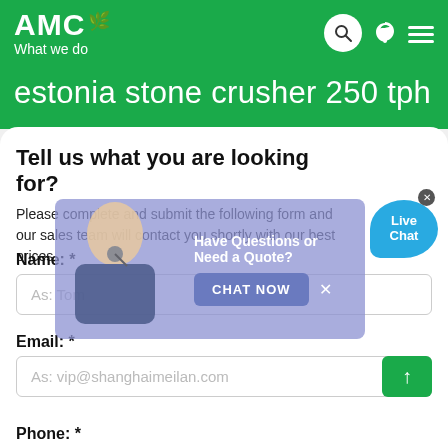AMC What we do
estonia stone crusher 250 tph
Tell us what you are looking for?
Please complete and submit the following form and our sales team will contact you shortly with our best prices.
Have Questions or Need a Quote?
[Figure (photo): Customer service representative with headset, partially transparent overlay]
[Figure (infographic): Live Chat bubble icon in blue]
CHAT NOW
Name: *
As: Tom
Email: *
As: vip@shanghaimeilan.com
Phone: *
With Country Code